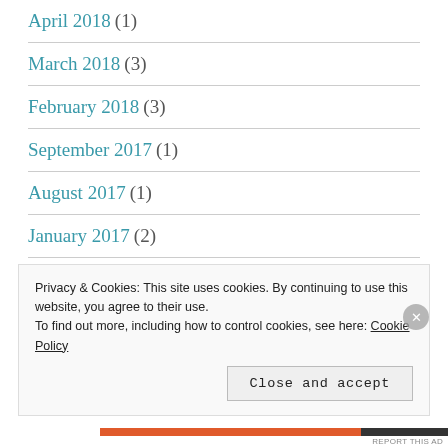April 2018 (1)
March 2018 (3)
February 2018 (3)
September 2017 (1)
August 2017 (1)
January 2017 (2)
December 2016 (2)
Privacy & Cookies: This site uses cookies. By continuing to use this website, you agree to their use. To find out more, including how to control cookies, see here: Cookie Policy
Close and accept